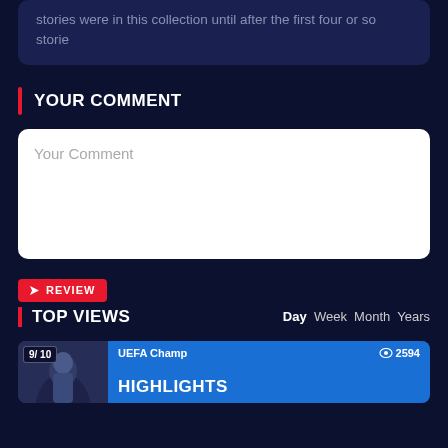stories were in this collection until after the first four or so storie
YOUR COMMENT
Your Comment
REVIEW
TOP VIEWS
Day Week Month Years
[Figure (screenshot): Video card thumbnail showing a football player with score badge 9/10, UEFA Champ label, 2594 views, and HIGHLIGHTS text]
9/ 10
UEFA Champ
2594
HIGHLIGHTS